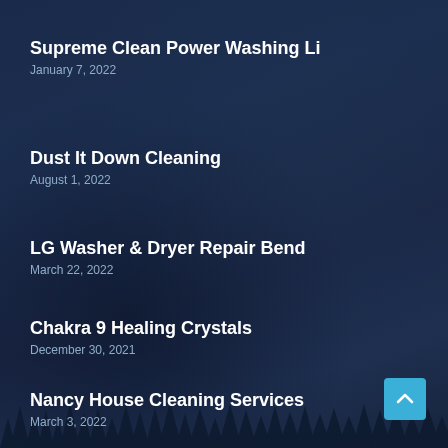Supreme Clean Power Washing Li
January 7, 2022
Dust It Down Cleaning
August 1, 2022
LG Washer & Dryer Repair Bend
March 22, 2022
Chakra 9 Healing Crystals
December 30, 2021
Nancy House Cleaning Services
March 3, 2022